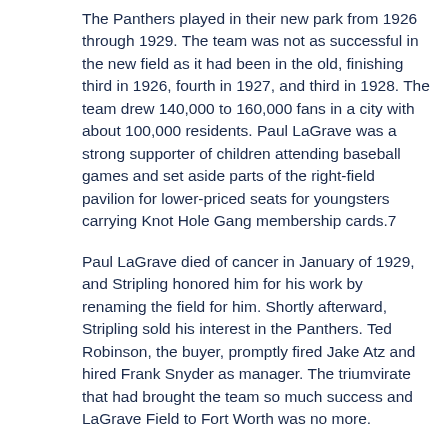The Panthers played in their new park from 1926 through 1929. The team was not as successful in the new field as it had been in the old, finishing third in 1926, fourth in 1927, and third in 1928. The team drew 140,000 to 160,000 fans in a city with about 100,000 residents. Paul LaGrave was a strong supporter of children attending baseball games and set aside parts of the right-field pavilion for lower-priced seats for youngsters carrying Knot Hole Gang membership cards.7
Paul LaGrave died of cancer in January of 1929, and Stripling honored him for his work by renaming the field for him. Shortly afterward, Stripling sold his interest in the Panthers. Ted Robinson, the buyer, promptly fired Jake Atz and hired Frank Snyder as manager. The triumvirate that had brought the team so much success and LaGrave Field to Fort Worth was no more.
Frank Snyder, the new manager of the Panthers, brought back memories of the glory days of Atz's Cats when he led the team to another Texas League title in 1930. That team downed the Memphis Chicks four games to one in the Dixie Series.